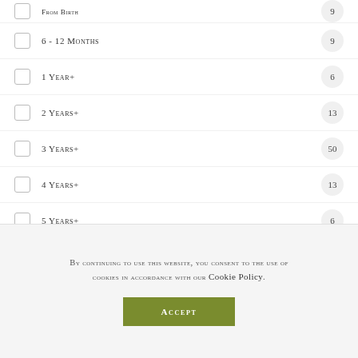From Birth — 9
6 - 12 Months — 9
1 Year+ — 6
2 Years+ — 13
3 Years+ — 50
4 Years+ — 13
5 Years+ — 6
6 Years+ — 28
7 Years+ — 42
8 Years+ — 7
By continuing to use this website, you consent to the use of cookies in accordance with our Cookie Policy.
ACCEPT